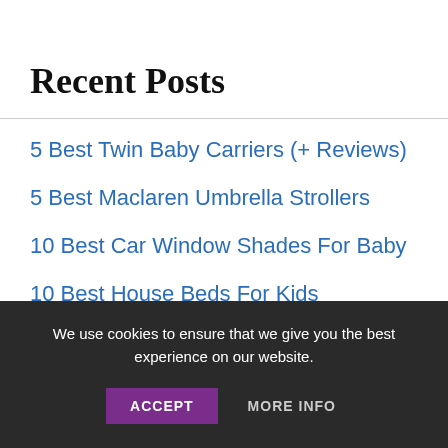Recent Posts
5 Best Twin Baby Carriers (+ Reviews)
5 Best Maclaren Umbrella Strollers
10 Best Car Window Shades For Baby
10 Best House Beds For Kids
11 Best Diapers For Sensitive Skin
We use cookies to ensure that we give you the best experience on our website.
ACCEPT   MORE INFO